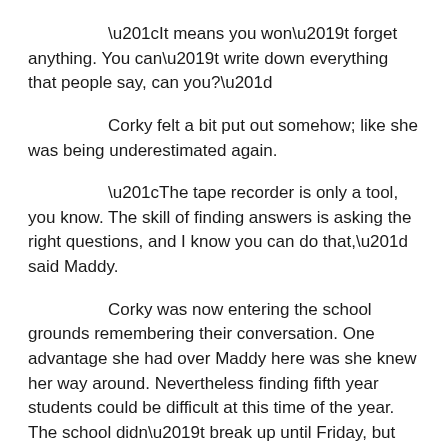“It means you won’t forget anything. You can’t write down everything that people say, can you?”
Corky felt a bit put out somehow; like she was being underestimated again.
“The tape recorder is only a tool, you know. The skill of finding answers is asking the right questions, and I know you can do that,” said Maddy.
Corky was now entering the school grounds remembering their conversation. One advantage she had over Maddy here was she knew her way around. Nevertheless finding fifth year students could be difficult at this time of the year. The school didn’t break up until Friday, but like her, many hadn’t been at school since the exams.